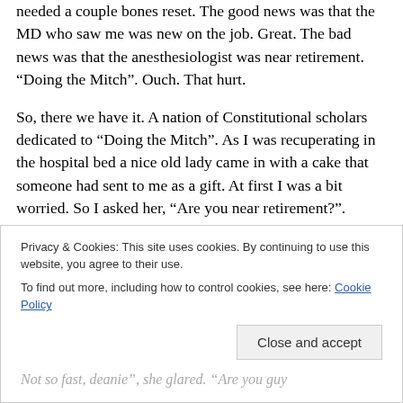needed a couple bones reset. The good news was that the MD who saw me was new on the job. Great. The bad news was that the anesthesiologist was near retirement. “Doing the Mitch”. Ouch. That hurt.
So, there we have it. A nation of Constitutional scholars dedicated to “Doing the Mitch”. As I was recuperating in the hospital bed a nice old lady came in with a cake that someone had sent to me as a gift. At first I was a bit worried. So I asked her, “Are you near retirement?”.
“No”, she responded sweetly. “I have a year and three
Privacy & Cookies: This site uses cookies. By continuing to use this website, you agree to their use.
To find out more, including how to control cookies, see here: Cookie Policy
Close and accept
Not so fast, dearie”, she glared. “Are you guy